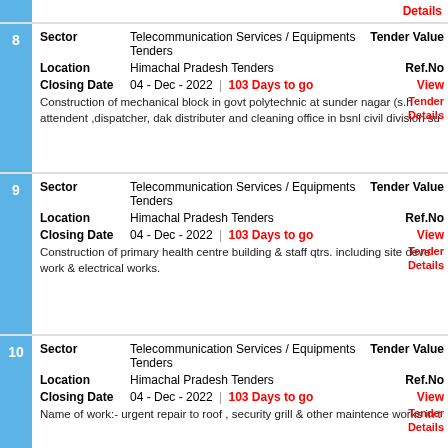| # | Field | Value | Right |
| --- | --- | --- | --- |
| 8 | Sector | Telecommunication Services / Equipments Tenders | Tender Value |
|  | Location | Himachal Pradesh Tenders | Ref.No |
|  | Closing Date | 04 - Dec - 2022 | 103 Days to go | View Tender Details |
|  | Description | Construction of mechanical block in govt polytechnic at sunder nagar (s.h attendent ,dispatcher, dak distributer and cleaning office in bsnl civil division su |  |
| # | Field | Value | Right |
| --- | --- | --- | --- |
| 9 | Sector | Telecommunication Services / Equipments Tenders | Tender Value |
|  | Location | Himachal Pradesh Tenders | Ref.No |
|  | Closing Date | 04 - Dec - 2022 | 103 Days to go | View Tender Details |
|  | Description | Construction of primary health centre building & staff qtrs. including site deve work & electrical works. |  |
| # | Field | Value | Right |
| --- | --- | --- | --- |
| 10 | Sector | Telecommunication Services / Equipments Tenders | Tender Value |
|  | Location | Himachal Pradesh Tenders | Ref.No |
|  | Closing Date | 04 - Dec - 2022 | 103 Days to go | View Tender Details |
|  | Description | Name of work:- urgent repair to roof , security grill & other maintence works in t |  |